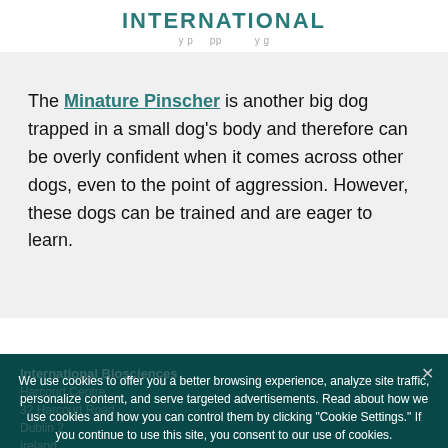INTERNATIONAL
The Minature Pinscher is another big dog trapped in a small dog's body and therefore can be overly confident when it comes across other dogs, even to the point of aggression. However, these dogs can be trained and are eager to learn.
International Biosciences
Harcourt Centre
32 Harcourt Road
Dublin 2
Ireland
Tel: +35314376944
We use cookies to offer you a better browsing experience, analyze site traffic, personalize content, and serve targeted advertisements. Read about how we use cookies and how you can control them by clicking "Cookie Settings." If you continue to use this site, you consent to our use of cookies.
Accept  Decline  Cookie Settings